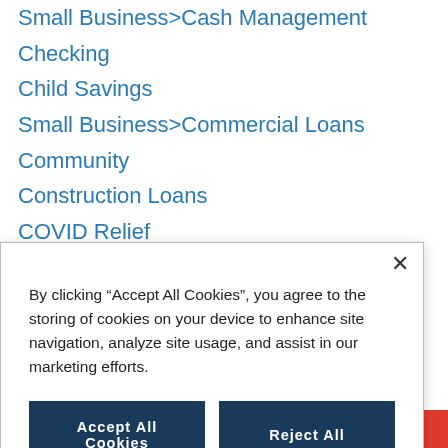Small Business>Cash Management
Checking
Child Savings
Small Business>Commercial Loans
Community
Construction Loans
COVID Relief
Credit Cards
Credit Loans_Personal
Cybersecurity
By clicking “Accept All Cookies”, you agree to the storing of cookies on your device to enhance site navigation, analyze site usage, and assist in our marketing efforts.
Accept All Cookies
Reject All
Cookies Settings